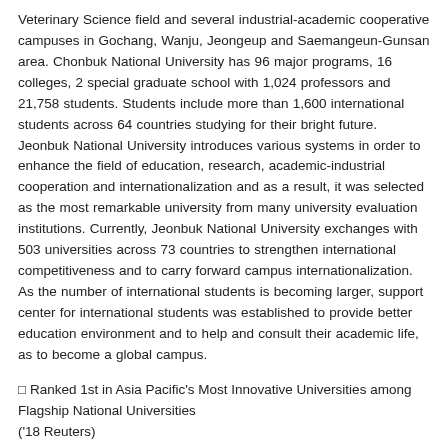Veterinary Science field and several industrial-academic cooperative campuses in Gochang, Wanju, Jeongeup and Saemangeun-Gunsan area. Chonbuk National University has 96 major programs, 16 colleges, 2 special graduate school with 1,024 professors and 21,758 students. Students include more than 1,600 international students across 64 countries studying for their bright future. Jeonbuk National University introduces various systems in order to enhance the field of education, research, academic-industrial cooperation and internationalization and as a result, it was selected as the most remarkable university from many university evaluation institutions. Currently, Jeonbuk National University exchanges with 503 universities across 73 countries to strengthen international competitiveness and to carry forward campus internationalization. As the number of international students is becoming larger, support center for international students was established to provide better education environment and to help and consult their academic life, as to become a global campus.
□ Ranked 1st in Asia Pacific's Most Innovative Universities among Flagship National Universities ('18 Reuters)
□ Ranked 2nd in World University Rankings among Flagship National Universities ('13~'19 QS)
□ Ranked 2nd in Asia University Rankings among Flagship National Universities ('16~'18 THE)
□ Ranked 1st in Quality Education University among Flagship National Universities